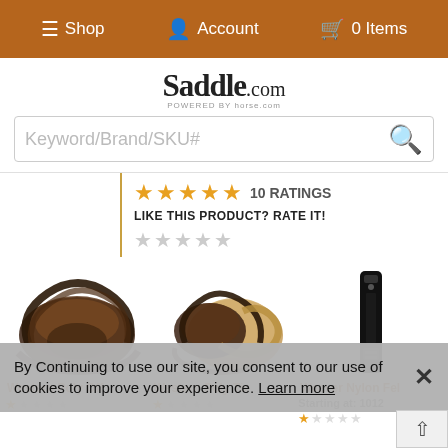☰ Shop  👤 Account  🛒 0 Items
[Figure (logo): Saddle.com logo with 'POWERED BY horse.com' tagline]
Keyword/Brand/SKU# [search box]
★★★★★ 10 RATINGS
LIKE THIS PRODUCT? RATE IT!
☆☆☆☆☆
[Figure (photo): Western Poly Off billets - dark brown leather straps coiled]
[Figure (photo): Western Poly Tie - brown and tan coiled straps]
[Figure (photo): Weaver Nylon Fel - black narrow vertical strap]
Western Poly Off
Western Poly Tie
Weaver Nylon Fel
Starting at: 1012
By Continuing to use our site, you consent to our use of cookies to improve your experience. Learn more
⌃